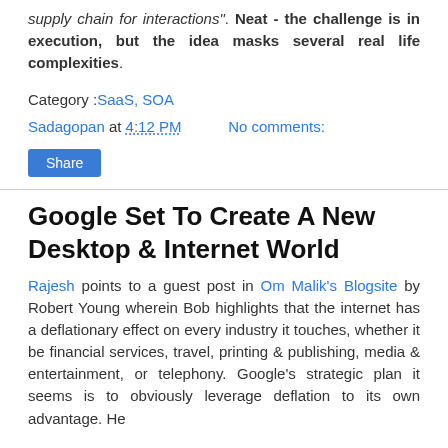supply chain for interactions". Neat - the challenge is in execution, but the idea masks several real life complexities.
Category :SaaS, SOA
Sadagopan at 4:12 PM   No comments:
Share
Google Set To Create A New Desktop & Internet World
Rajesh points to a guest post in Om Malik's Blogsite by Robert Young wherein Bob highlights that the internet has a deflationary effect on every industry it touches, whether it be financial services, travel, printing & publishing, media & entertainment, or telephony. Google's strategic plan it seems is to obviously leverage deflation to its own advantage. He